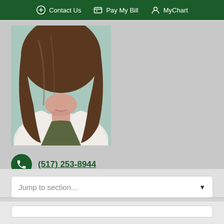Contact Us  Pay My Bill  MyChart
[Figure (photo): Professional photo of a female doctor or healthcare provider with long brown wavy hair, wearing a white coat over an olive/dark green top, with a light teal/mint green background. The photo is cropped from below the chin to below the shoulders.]
(517) 253-8944
Jump to section...